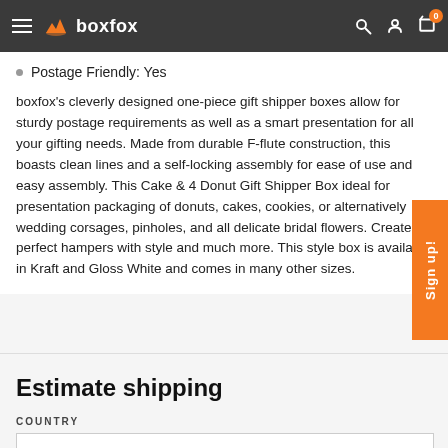boxfox
Postage Friendly: Yes
boxfox's cleverly designed one-piece gift shipper boxes allow for sturdy postage requirements as well as a smart presentation for all your gifting needs. Made from durable F-flute construction, this boasts clean lines and a self-locking assembly for ease of use and easy assembly. This Cake & 4 Donut Gift Shipper Box ideal for presentation packaging of donuts, cakes, cookies, or alternatively wedding corsages, pinholes, and all delicate bridal flowers. Create perfect hampers with style and much more. This style box is available in Kraft and Gloss White and comes in many other sizes.
Estimate shipping
COUNTRY